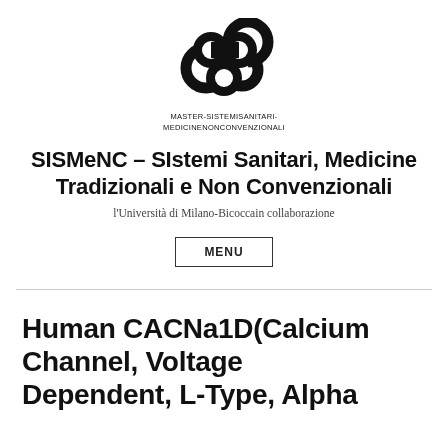[Figure (logo): Infinity/figure-eight shaped logo for MASTER-SISTEMISANITARI-MEDICINENONCONVENZIONALI with text below]
SISMeNC – SIstemi Sanitari, Medicine Tradizionali e Non Convenzionali
l'Università di Milano-Bicoccain collaborazione
MENU
Human CACNa1D(Calcium Channel, Voltage Dependent, L-Type, Alpha